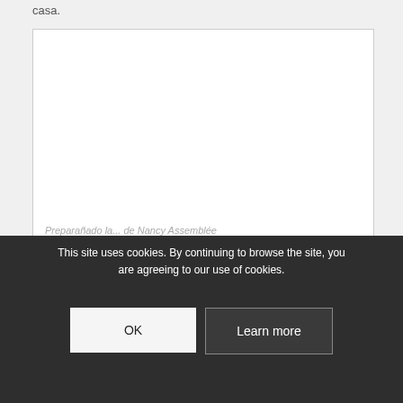casa.
[Figure (other): White rectangular image placeholder box with light gray border]
This site uses cookies. By continuing to browse the site, you are agreeing to our use of cookies.
Preparanado la... de Nancy Assemblée
OK
Learn more